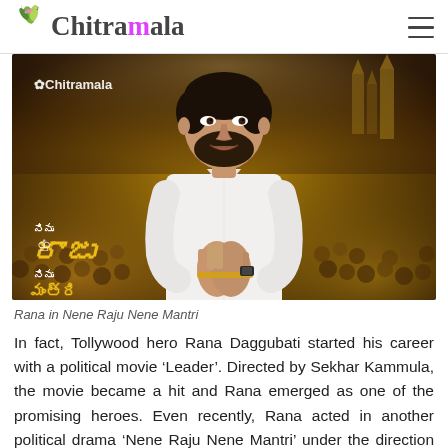Chitramala
[Figure (photo): Movie poster of 'Nene Raju Nene Mantri' featuring actor Rana Daggubati in a white shirt with hands joined in namaste, standing in front of a large crowd. Chitramala watermark visible top-left. Telugu movie title text visible bottom-left.]
Rana in Nene Raju Nene Mantri
In fact, Tollywood hero Rana Daggubati started his career with a political movie ‘Leader’. Directed by Sekhar Kammula, the movie became a hit and Rana emerged as one of the promising heroes. Even recently, Rana acted in another political drama ‘Nene Raju Nene Mantri’ under the direction of Teja which...